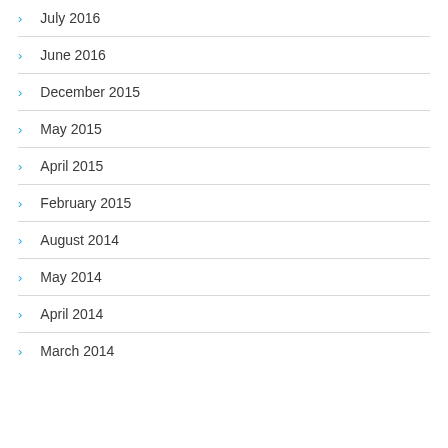July 2016
June 2016
December 2015
May 2015
April 2015
February 2015
August 2014
May 2014
April 2014
March 2014